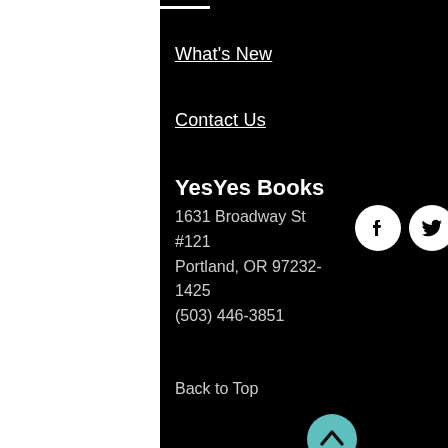What's New
Contact Us
YesYes Books
1631 Broadway St #121
Portland, OR 97232-1425
(503) 446-3851
[Figure (other): Three white circular social media icons: Facebook, Twitter, Instagram]
Back to Top
[Figure (other): Teal circular button with upward chevron arrow]
Newsletter Sign Up
Never miss a beat with our YesYes Books Newsletter.
Name